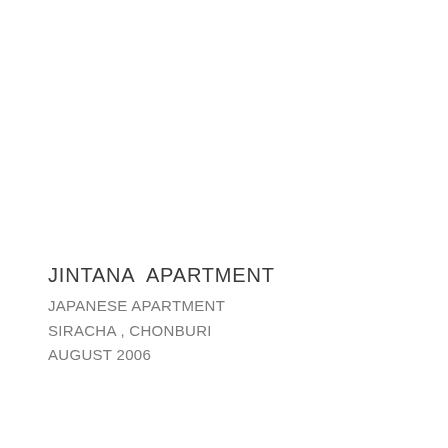JINTANA  APARTMENT
JAPANESE APARTMENT
SIRACHA , CHONBURI
AUGUST 2006